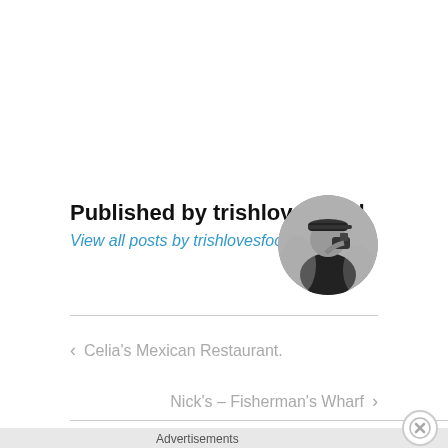Published by trishlovesfood
View all posts by trishlovesfood
[Figure (photo): Circular black and white avatar photo of a person wearing a cap and holding a camera]
< Celia's Mexican Restaurant.
Nick's – Fisherman's Wharf >
Advertisements
[Figure (screenshot): DuckDuckGo advertisement banner with orange background showing 'Search, browse, and email with more privacy. All in One Free App' text and DuckDuckGo logo on a phone mockup]